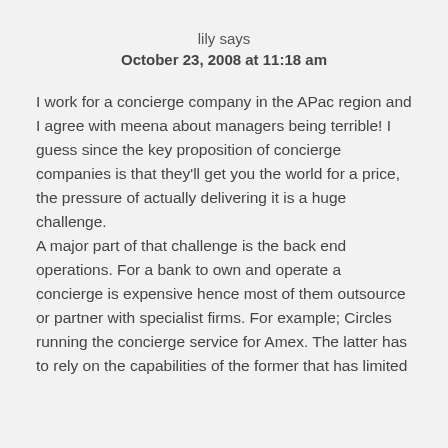lily says
October 23, 2008 at 11:18 am
I work for a concierge company in the APac region and I agree with meena about managers being terrible! I guess since the key proposition of concierge companies is that they'll get you the world for a price, the pressure of actually delivering it is a huge challenge.
A major part of that challenge is the back end operations. For a bank to own and operate a concierge is expensive hence most of them outsource or partner with specialist firms. For example; Circles running the concierge service for Amex. The latter has to rely on the capabilities of the former that has limited